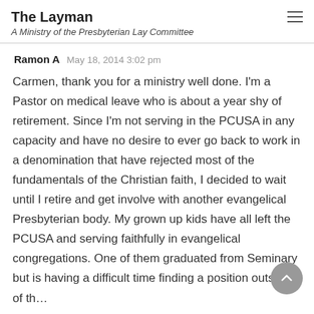The Layman
A Ministry of the Presbyterian Lay Committee
Ramon A   May 18, 2014 3:02 pm
Carmen, thank you for a ministry well done. I'm a Pastor on medical leave who is about a year shy of retirement. Since I'm not serving in the PCUSA in any capacity and have no desire to ever go back to work in a denomination that have rejected most of the fundamentals of the Christian faith, I decided to wait until I retire and get involve with another evangelical Presbyterian body. My grown up kids have all left the PCUSA and serving faithfully in evangelical congregations. One of them graduated from Seminary but is having a difficult time finding a position outside of the…